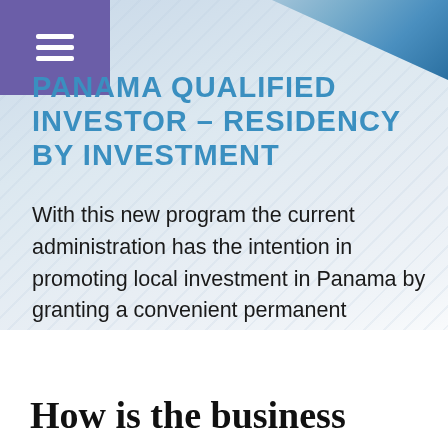PANAMA QUALIFIED INVESTOR – RESIDENCY BY INVESTMENT
With this new program the current administration has the intention in promoting local investment in Panama by granting a convenient permanent resident status to any applicant and dependents.
[Figure (infographic): Row of four national flag icons: UK, France, Spain, Netherlands inside a bordered box]
How is the business